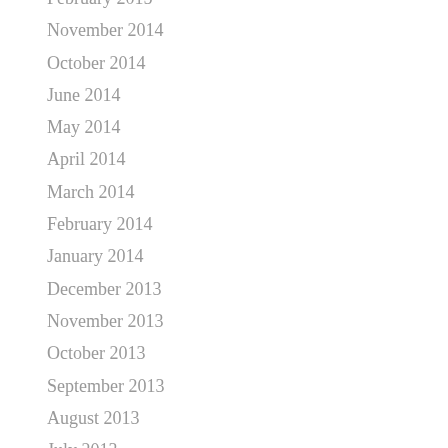February 2015
November 2014
October 2014
June 2014
May 2014
April 2014
March 2014
February 2014
January 2014
December 2013
November 2013
October 2013
September 2013
August 2013
July 2013